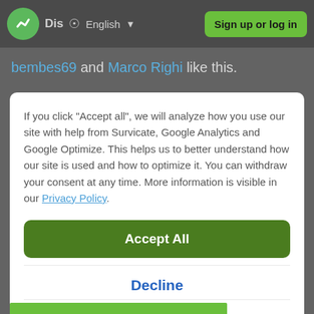Dis  English  Sign up or log in
bembes69 and Marco Righi like this.
If you click "Accept all", we will analyze how you use our site with help from Survicate, Google Analytics and Google Optimize. This helps us to better understand how our site is used and how to optimize it. You can withdraw your consent at any time. More information is visible in our Privacy Policy.
Accept All
Decline
Details